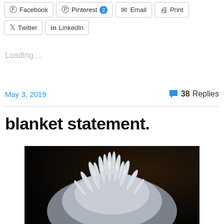Facebook | Pinterest 2 | Email | Print | Twitter | LinkedIn
Loading...
May 3, 2019    38 Replies
blanket statement.
[Figure (photo): Close-up photo of fluffy white/gray fur or feathers against a dark background, viewed from above showing the top of what appears to be a cat or similar furry animal.]